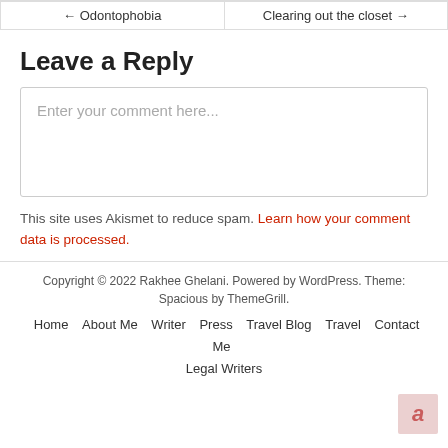← Odontophobia   Clearing out the closet →
Leave a Reply
Enter your comment here...
This site uses Akismet to reduce spam. Learn how your comment data is processed.
Copyright © 2022 Rakhee Ghelani. Powered by WordPress. Theme: Spacious by ThemeGrill.
Home   About Me   Writer   Press   Travel Blog   Travel   Contact Me
Legal Writers